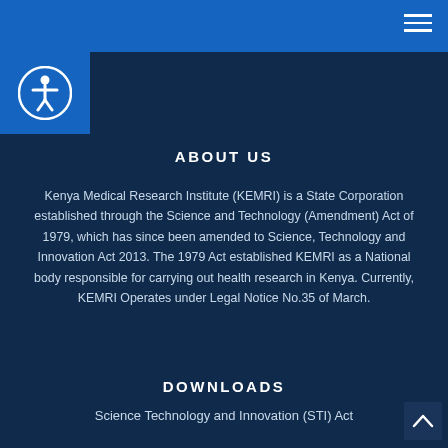[Figure (illustration): Accessibility icon: circle with person figure, inside a blue square button]
ABOUT US
Kenya Medical Research Institute (KEMRI) is a State Corporation established through the Science and Technology (Amendment) Act of 1979, which has since been amended to Science, Technology and Innovation Act 2013. The 1979 Act established KEMRI as a National body responsible for carrying out health research in Kenya. Currently, KEMRI Operates under Legal Notice No.35 of March.
DOWNLOADS
Science Technology and Innovation (STI) Act
KEMRI Bill
KEMRI Research Policy
Collaborations
KEMRI Strategic Plan